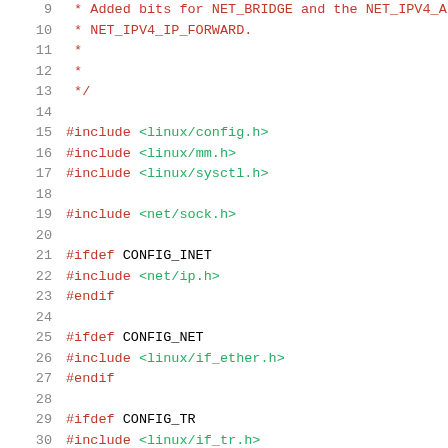Source code listing, lines 9-30, showing C preprocessor includes and ifdef blocks for CONFIG_INET, CONFIG_NET, CONFIG_TR with associated linux and net header includes.